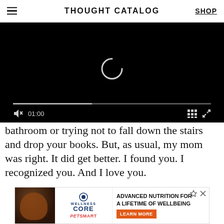THOUGHT CATALOG
[Figure (screenshot): Video player with black background showing a loading spinner, progress bar, and controls including mute button, timestamp 01:00, grid icon, and fullscreen icon.]
bathroom or trying not to fall down the stairs and drop your books. But, as usual, my mom was right. It did get better. I found you. I recognized you. And I love you.
[Figure (other): Advertisement banner for Wellness Core pet food at PetSmart. Shows a dog photo on the left, Wellness Core logo in the middle, and text 'ADVANCED NUTRITION FOR A LIFETIME OF WELLBEING' with a 'LEARN MORE' button on the right.]